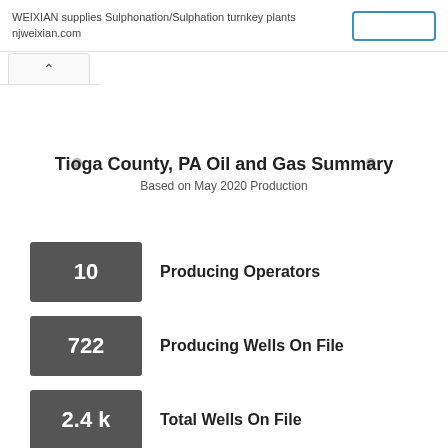WEIXIAN supplies Sulphonation/Sulphation turnkey plants njweixian.com
Tioga County, PA Oil and Gas Summary
Based on May 2020 Production
10 Producing Operators
722 Producing Wells On File
2.4 k Total Wells On File
29 M MCF of Gas Produced